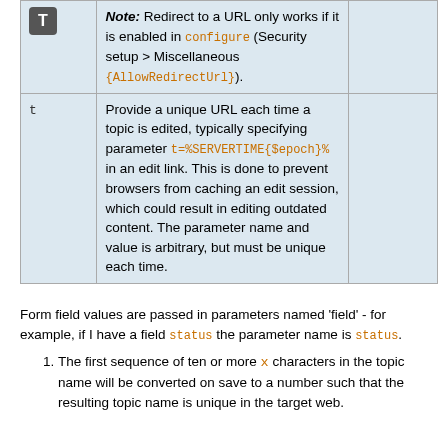|  | Description |  |
| --- | --- | --- |
| [T icon] | Note: Redirect to a URL only works if it is enabled in configure (Security setup > Miscellaneous {AllowRedirectUrl}). |  |
| t | Provide a unique URL each time a topic is edited, typically specifying parameter t=%SERVERTIME{$epoch}% in an edit link. This is done to prevent browsers from caching an edit session, which could result in editing outdated content. The parameter name and value is arbitrary, but must be unique each time. |  |
Form field values are passed in parameters named 'field' - for example, if I have a field status the parameter name is status.
The first sequence of ten or more x characters in the topic name will be converted on save to a number such that the resulting topic name is unique in the target web.